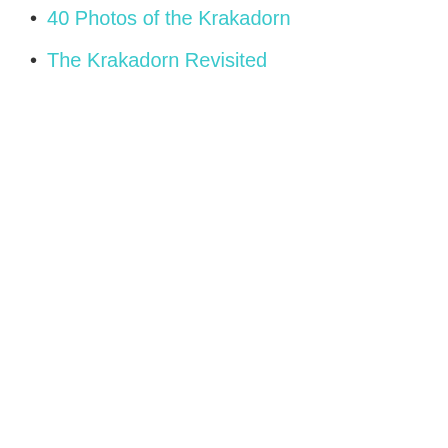40 Photos of the Krakadorn
The Krakadorn Revisited